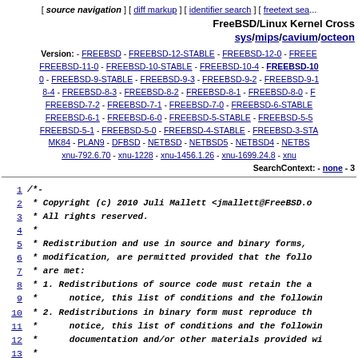[ source navigation ] [ diff markup ] [ identifier search ] [ freetext sea...
FreeBSD/Linux Kernel Cross
sys/mips/cavium/octeo...
Version: - FREEBSD - FREEBSD-12-STABLE - FREEBSD-12-0 - FREEBSD-11-0 - FREEBSD-10-STABLE - FREEBSD-10-4 - FREEBSD-10-0 - FREEBSD-9-STABLE - FREEBSD-9-3 - FREEBSD-9-2 - FREEBSD-9-1 - FREEBSD-8-4 - FREEBSD-8-3 - FREEBSD-8-2 - FREEBSD-8-1 - FREEBSD-8-0 - FREEBSD-7-2 - FREEBSD-7-1 - FREEBSD-7-0 - FREEBSD-6-STABLE - FREEBSD-6-1 - FREEBSD-6-0 - FREEBSD-5-STABLE - FREEBSD-5-5 - FREEBSD-5-1 - FREEBSD-5-0 - FREEBSD-4-STABLE - FREEBSD-3-STA... - MK84 - PLAN9 - DFBSD - NETBSD - NETBSD5 - NETBSD4 - NETBS... - xnu-792.6.70 - xnu-1228 - xnu-1456.1.26 - xnu-1699.24.8 - xnu...
SearchContext: - none - 3
1 /*-
2  * Copyright (c) 2010 Juli Mallett <jmallett@FreeBSD.o
3  * All rights reserved.
4  *
5  * Redistribution and use in source and binary forms,
6  * modification, are permitted provided that the follo
7  * are met:
8  * 1. Redistributions of source code must retain the a
9  *      notice, this list of conditions and the followin
10  * 2. Redistributions in binary form must reproduce th
11  *      notice, this list of conditions and the followin
12  *      documentation and/or other materials provided wi
13  *